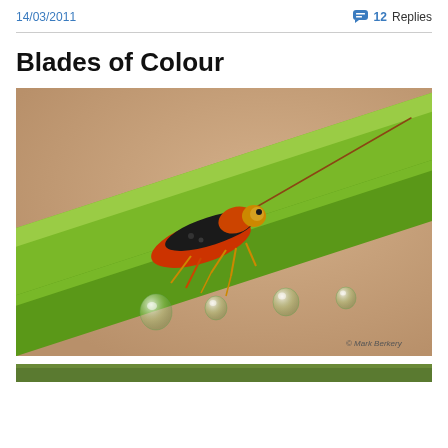14/03/2011
💬 12 Replies
Blades of Colour
[Figure (photo): Close-up macro photograph of an orange and black insect (parasitic wasp) perched on a green grass blade with water droplets hanging beneath it. Background is blurred tan/beige. Copyright mark: © Mark Berkery]
[Figure (photo): Bottom strip showing a green grass/plant background, partially visible]